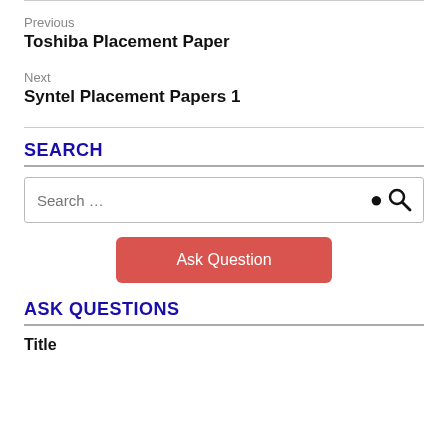Previous
Toshiba Placement Paper
Next
Syntel Placement Papers 1
SEARCH
Search …
Ask Question
ASK QUESTIONS
Title